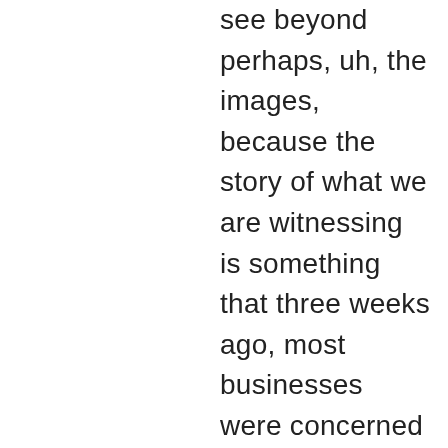see beyond perhaps, uh, the images, because the story of what we are witnessing is something that three weeks ago, most businesses were concerned with getting their people back to work. Three weeks ago, most people were ripping off masks saying, we're going to see each other's faces and less than three weeks on, we have a global crisis that impacts both the economy, education livelihood. Everyone now has seen images of innocent people that have lost their lives. I have traveled around the world. I've been very, very